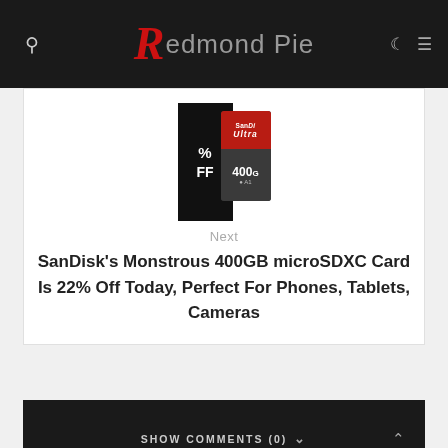Redmond Pie
[Figure (photo): SanDisk 400GB microSDXC card with 22% off promotional graphic]
Next
SanDisk's Monstrous 400GB microSDXC Card Is 22% Off Today, Perfect For Phones, Tablets, Cameras
SHOW COMMENTS (0)